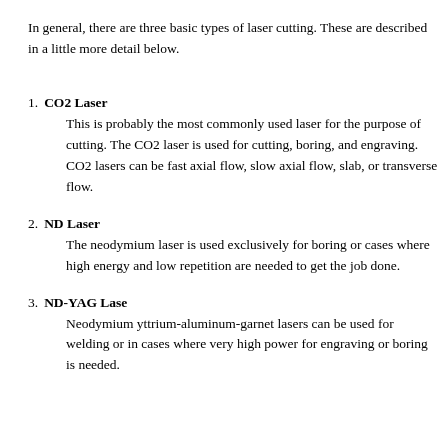In general, there are three basic types of laser cutting. These are described in a little more detail below.
1. CO2 Laser
This is probably the most commonly used laser for the purpose of cutting. The CO2 laser is used for cutting, boring, and engraving. CO2 lasers can be fast axial flow, slow axial flow, slab, or transverse flow.
2. ND Laser
The neodymium laser is used exclusively for boring or cases where high energy and low repetition are needed to get the job done.
3. ND-YAG Lase
Neodymium yttrium-aluminum-garnet lasers can be used for welding or in cases where very high power for engraving or boring is needed.